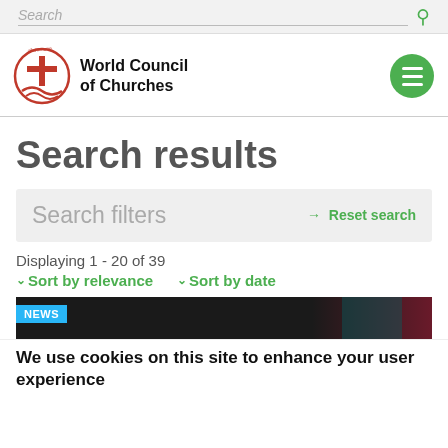Search
[Figure (logo): World Council of Churches logo with oikoumene circle text and cross/boat symbol in red]
Search results
Search filters
→ Reset search
Displaying 1 - 20 of 39
Sort by relevance
Sort by date
NEWS
We use cookies on this site to enhance your user experience